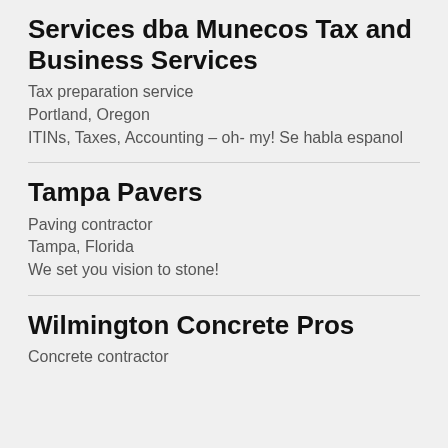Services dba Munecos Tax and Business Services
Tax preparation service
Portland, Oregon
ITINs, Taxes, Accounting – oh- my! Se habla espanol
Tampa Pavers
Paving contractor
Tampa, Florida
We set you vision to stone!
Wilmington Concrete Pros
Concrete contractor